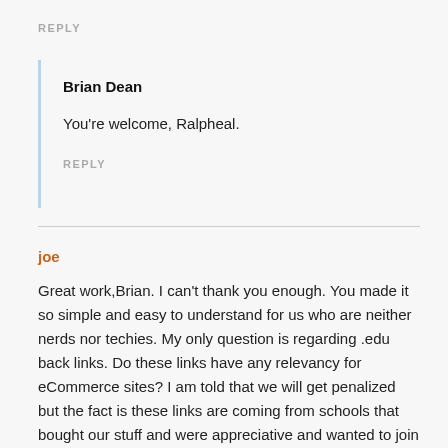REPLY
Brian Dean
You're welcome, Ralpheal.
REPLY
joe
Great work,Brian. I can't thank you enough. You made it so simple and easy to understand for us who are neither nerds nor techies. My only question is regarding .edu back links. Do these links have any relevancy for eCommerce sites? I am told that we will get penalized but the fact is these links are coming from schools that bought our stuff and were appreciative and wanted to join the conversation through blog comments.